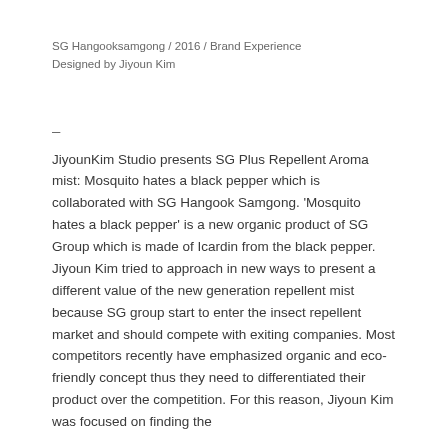SG Hangooksamgong / 2016 / Brand Experience
Designed by Jiyoun Kim
–
JiyounKim Studio presents SG Plus Repellent Aroma mist: Mosquito hates a black pepper which is collaborated with SG Hangook Samgong. 'Mosquito hates a black pepper' is a new organic product of SG Group which is made of Icardin from the black pepper. Jiyoun Kim tried to approach in new ways to present a different value of the new generation repellent mist because SG group start to enter the insect repellent market and should compete with exiting companies. Most competitors recently have emphasized organic and eco-friendly concept thus they need to differentiated their product over the competition. For this reason, Jiyoun Kim was focused on finding the